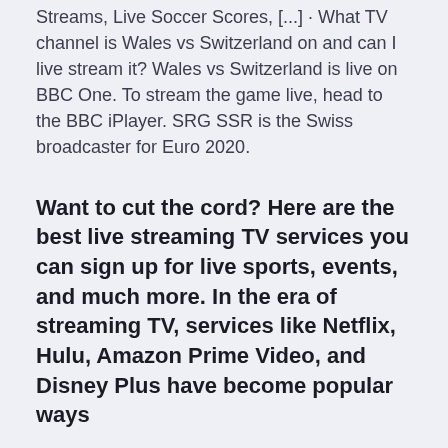Streams, Live Soccer Scores, [...] · What TV channel is Wales vs Switzerland on and can I live stream it? Wales vs Switzerland is live on BBC One. To stream the game live, head to the BBC iPlayer. SRG SSR is the Swiss broadcaster for Euro 2020.
Want to cut the cord? Here are the best live streaming TV services you can sign up for live sports, events, and much more. In the era of streaming TV, services like Netflix, Hulu, Amazon Prime Video, and Disney Plus have become popular ways